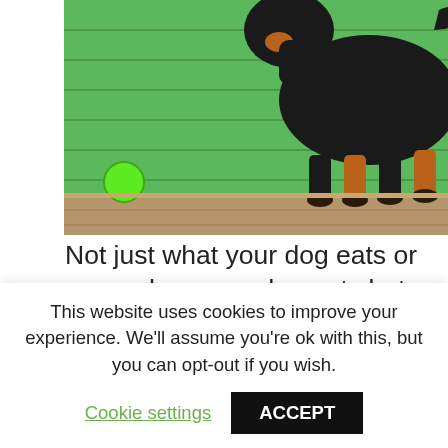[Figure (photo): A black and tan dog (likely a Rottweiler or Doberman) standing in front of a bright green wooden wall, with a metal bucket to the right and a small green ball to the left on a wooden floor.]
Not just what your dog eats or even when your dog eats but more likely to occur (regardless of diet) up to an hour post eating and drinking.
Bizarrely some breeds are more prone. See a list of the more usual suspects, owners of these breeds will not be surprised. The common thread with most of the offending breeds are the wrinkly, short necked, snout nosed, droolers and slobberers. Although some exceptions to the rule, like the German Shepard
This website uses cookies to improve your experience. We'll assume you're ok with this, but you can opt-out if you wish.
Cookie settings   ACCEPT